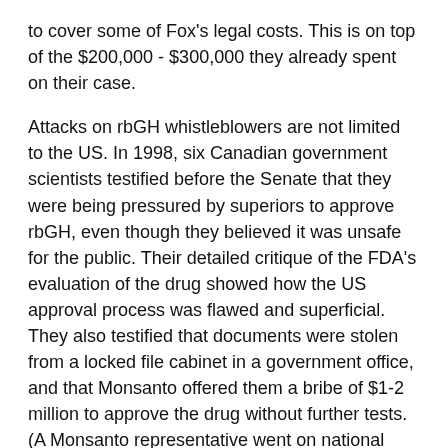to cover some of Fox's legal costs. This is on top of the $200,000 - $300,000 they already spent on their case.
Attacks on rbGH whistleblowers are not limited to the US. In 1998, six Canadian government scientists testified before the Senate that they were being pressured by superiors to approve rbGH, even though they believed it was unsafe for the public. Their detailed critique of the FDA's evaluation of the drug showed how the US approval process was flawed and superficial. They also testified that documents were stolen from a locked file cabinet in a government office, and that Monsanto offered them a bribe of $1-2 million to approve the drug without further tests. (A Monsanto representative went on national Canadian television claiming that the scientists had obviously misunderstood an offer for research money.) The Canadian scientists later described how their superiors retaliated against them for testifying. They were passed over for